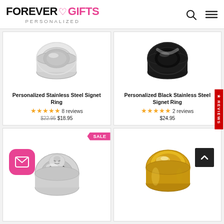FOREVER GIFTS PERSONALIZED
[Figure (photo): Personalized Stainless Steel Signet Ring - silver ring product photo]
Personalized Stainless Steel Signet Ring
★★★★★ 8 reviews
$22.95  $18.95
[Figure (photo): Personalized Black Stainless Steel Signet Ring - black ring product photo]
Personalized Black Stainless Steel Signet Ring
★★★★★ 2 reviews
$24.95
[Figure (photo): Photo ring with baby face engraving - silver ring product photo - SALE]
[Figure (photo): Gold signet ring product photo]